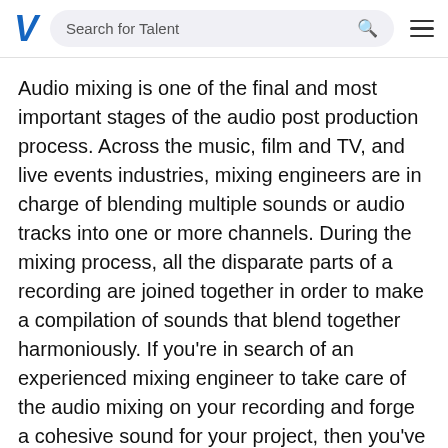Search for Talent
Audio mixing is one of the final and most important stages of the audio post production process. Across the music, film and TV, and live events industries, mixing engineers are in charge of blending multiple sounds or audio tracks into one or more channels. During the mixing process, all the disparate parts of a recording are joined together in order to make a compilation of sounds that blend together harmoniously. If you're in search of an experienced mixing engineer to take care of the audio mixing on your recording and forge a cohesive sound for your project, then you've come to the right place.
When you use Voices to find your project's mixing engineer, you'll have the opportunity to browse our